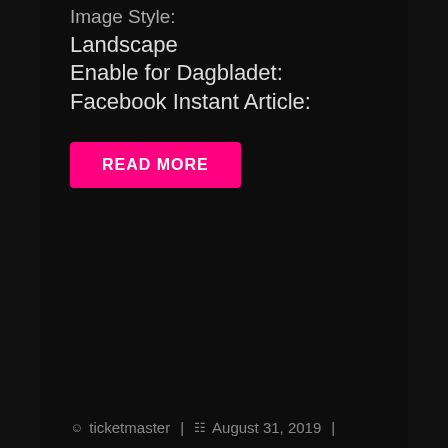Image Style:
Landscape
Enable for Dagbladet:
Facebook Instant Article:
READ MORE
ticketmaster | August 31, 2019 |